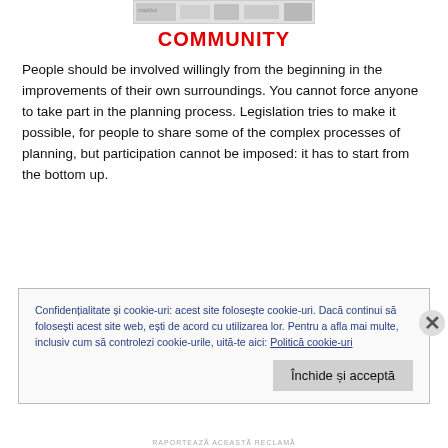[Figure (screenshot): Partial screenshot of a map or document thumbnail at top of page]
COMMUNITY
People should be involved willingly from the beginning in the improvements of their own surroundings. You cannot force anyone to take part in the planning process. Legislation tries to make it possible, for people to share some of the complex processes of planning, but participation cannot be imposed: it has to start from the bottom up.
Confidențialitate și cookie-uri: acest site folosește cookie-uri. Dacă continui să folosești acest site web, ești de acord cu utilizarea lor. Pentru a afla mai multe, inclusiv cum să controlezi cookie-urile, uită-te aici: Politică cookie-uri
Închide și acceptă
RAPORTEAZĂ ACEASTĂ RECLAMĂ